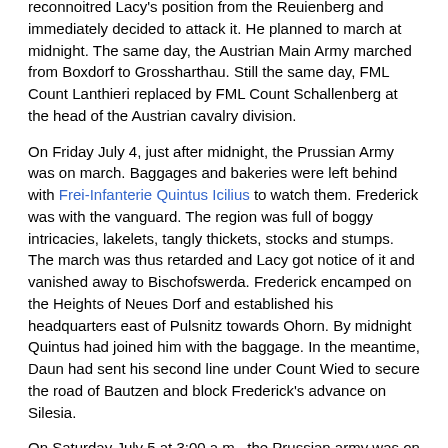reconnoitred Lacy's position from the Reuienberg and immediately decided to attack it. He planned to march at midnight. The same day, the Austrian Main Army marched from Boxdorf to Grossharthau. Still the same day, FML Count Lanthieri replaced by FML Count Schallenberg at the head of the Austrian cavalry division.
On Friday July 4, just after midnight, the Prussian Army was on march. Baggages and bakeries were left behind with Frei-Infanterie Quintus Icilius to watch them. Frederick was with the vanguard. The region was full of boggy intricacies, lakelets, tangly thickets, stocks and stumps. The march was thus retarded and Lacy got notice of it and vanished away to Bischofswerda. Frederick encamped on the Heights of Neues Dorf and established his headquarters east of Pulsnitz towards Ohorn. By midnight Quintus had joined him with the baggage. In the meantime, Daun had sent his second line under Count Wied to secure the road of Bautzen and block Frederick's advance on Silesia.
On Saturday July 5 at 3:00 a.m., the Prussian army was on the march again, heading northward to the Abbey of Sankt Marienstern, 24 km farther. Frederick established his headquarters at the abbey. Meanwhile, Daun had hastily set off for Bautzen, with his 50 or 60,000 men. He reached the town at night. Lacy formed his rearguard at Bischofswerda.
On Sunday July 6, learning that Daun was ahead of him on the road to Silesia, Frederick left the Abbey of Sankt Marienstern in three columns at 3:00 a.m.. He marched eastward, intending to cross the Spree and, leaving